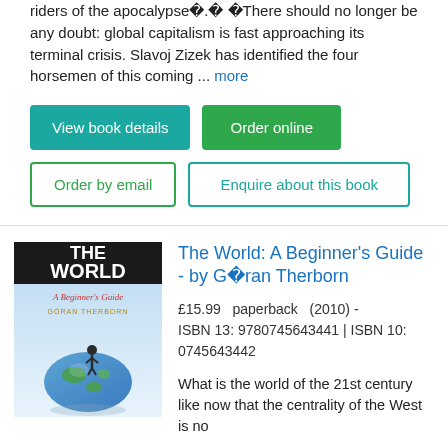riders of the apocalypse�.� �There should no longer be any doubt: global capitalism is fast approaching its terminal crisis. Slavoj Zizek has identified the four horsemen of this coming ... more
View book details
Order online
Order by email
Enquire about this book
[Figure (illustration): Book cover of 'The World: A Beginner's Guide' by Goran Therborn, showing a man standing on top of a globe]
The World: A Beginner's Guide - by Göran Therborn
£15.99  paperback  (2010) - ISBN 13: 9780745643441 | ISBN 10: 0745643442
What is the world of the 21st century like now that the centrality of the West is no